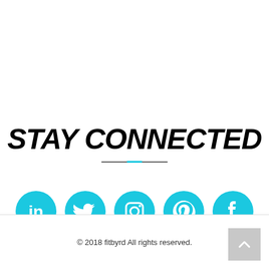STAY CONNECTED
[Figure (infographic): Five cyan circular social media icons in a row: LinkedIn, Twitter, Instagram, Pinterest, Facebook]
© 2018 fitbyrd All rights reserved.